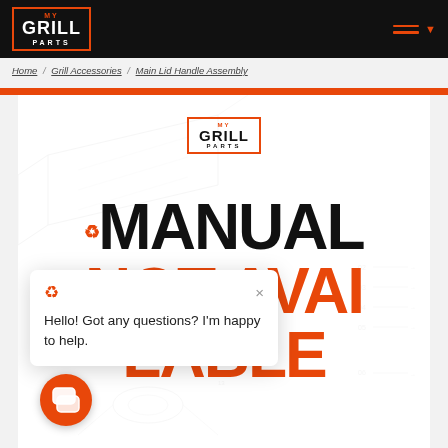MY GRILL PARTS
Home / Grill Accessories / Main Lid Handle Assembly
MANUAL NOT AVAILABLE
[Figure (screenshot): Chat popup with grill icon and close X button, text: Hello! Got any questions? I'm happy to help.]
[Figure (illustration): Red circular chat button with speech bubble icon in bottom left corner]